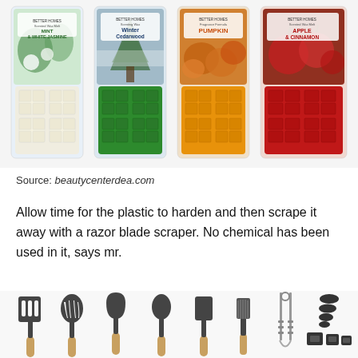[Figure (photo): Four scented wax melt packages arranged side by side: Mint & White Jasmine (white wax), Winter Cedarwood (green wax), Pumpkin (orange/yellow wax), Apple & Cinnamon (red wax)]
Source: beautycenterdea.com
Allow time for the plastic to harden and then scrape it away with a razor blade scraper. No chemical has been used in it, says mr.
[Figure (photo): Set of dark gray silicone kitchen utensils with wooden handles including spatula, pasta fork, ladle, spoon, scraper, brush, tongs, and measuring cups/spoons]